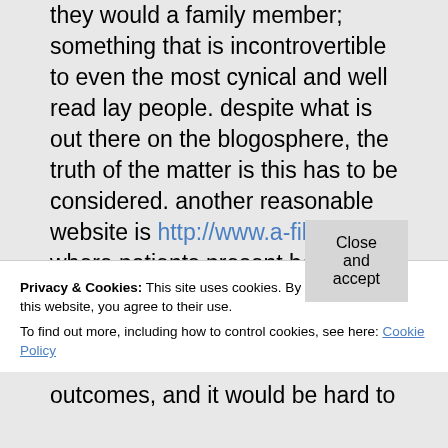they would a family member; something that is incontrovertible to even the most cynical and well read lay people. despite what is out there on the blogosphere, the truth of the matter is this has to be considered. another reasonable website is http://www.a-fib.com where patients present both good and bad stories about ablation. i honestly cannot allow you to get a one sided view
Privacy & Cookies: This site uses cookies. By continuing to use this website, you agree to their use. To find out more, including how to control cookies, see here: Cookie Policy
outcomes, and it would be hard to